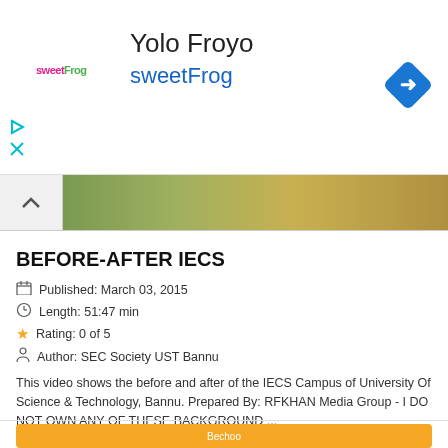[Figure (screenshot): Advertisement banner for Yolo Froyo sweetFrog with logo, navigation icon]
[Figure (photo): Thumbnail strip showing outdoor campus scene with vegetation and dirt path]
BEFORE-AFTER IECS
Published: March 03, 2015
Length: 51:47 min
Rating: 0 of 5
Author: SEC Society UST Bannu
This video shows the before and after of the IECS Campus of University Of Science & Technology, Bannu. Prepared By: RFKHAN Media Group - I DO NOT OWN ANY OF THESE BACKGROUND ...
[Figure (screenshot): Bottom portion of a Bechoo.pk website card with orange background and YouTube play button]